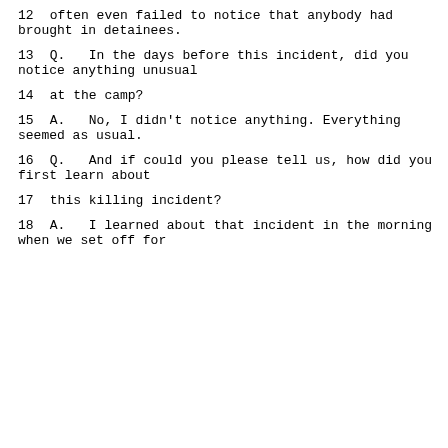12    often even failed to notice that anybody had brought in detainees.
13        Q.    In the days before this incident, did you notice anything unusual
14        at the camp?
15        A.    No, I didn't notice anything. Everything seemed as usual.
16        Q.    And if could you please tell us, how did you first learn about
17        this killing incident?
18        A.    I learned about that incident in the morning when we set off for